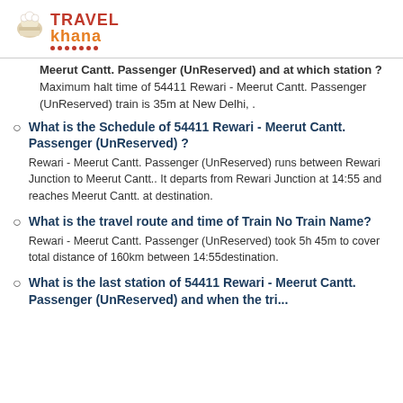[Figure (logo): TravelKhana logo with chef hat icon, red TRAVEL text, orange khana text, and red dots underline]
Meerut Cantt. Passenger (UnReserved) and at which station ? Maximum halt time of 54411 Rewari - Meerut Cantt. Passenger (UnReserved) train is 35m at New Delhi, .
What is the Schedule of 54411 Rewari - Meerut Cantt. Passenger (UnReserved) ? Rewari - Meerut Cantt. Passenger (UnReserved) runs between Rewari Junction to Meerut Cantt.. It departs from Rewari Junction at 14:55 and reaches Meerut Cantt. at destination.
What is the travel route and time of Train No Train Name? Rewari - Meerut Cantt. Passenger (UnReserved) took 5h 45m to cover total distance of 160km between 14:55destination.
What is the last station of 54411 Rewari - Meerut Cantt. Passenger (UnReserved) and when the tri...